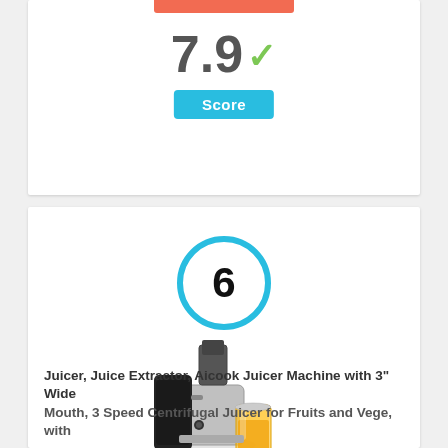[Figure (infographic): Score display showing 7.9 with a green checkmark and a teal 'Score' badge below]
[Figure (infographic): Circular rank badge with the number 6 in a blue circle]
[Figure (photo): Product photo of an Aicook centrifugal juicer machine with a glass of orange juice]
Juicer, Juice Extractor, Aicook Juicer Machine with 3" Wide Mouth, 3 Speed Centrifugal Juicer for Fruits and Vege, with